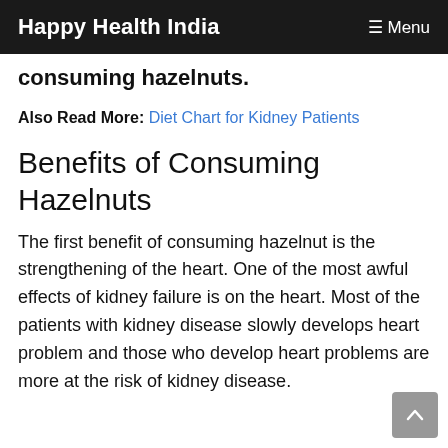Happy Health India   ☰ Menu
consuming hazelnuts.
Also Read More: Diet Chart for Kidney Patients
Benefits of Consuming Hazelnuts
The first benefit of consuming hazelnut is the strengthening of the heart. One of the most awful effects of kidney failure is on the heart. Most of the patients with kidney disease slowly develops heart problem and those who develop heart problems are more at the risk of kidney disease.